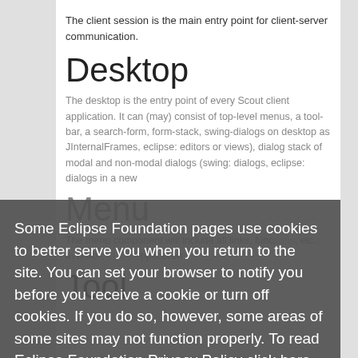The client session is the main entry point for client-server communication.
Desktop
The desktop is the entry point of every Scout client application. It can (may) consist of top-level menus, a tool-bar, a search-form, form-stack, swing-dialogs on desktop as JInternalFrames, eclipse: editors or views), dialog stack of modal and non-modal dialogs (swing: dialogs, eclipse: dialogs in a new ...
Menu
The menu component will include all links, functions, etc., available in the application.
Tool
Some Eclipse Foundation pages use cookies to better serve you when you return to the site. You can set your browser to notify you before you receive a cookie or turn off cookies. If you do so, however, some areas of some sites may not function properly. To read Eclipse Foundation Privacy Policy click here.